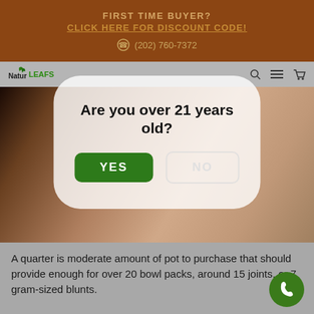FIRST TIME BUYER?
CLICK HERE FOR DISCOUNT CODE!
(202) 760-7372
[Figure (screenshot): Website screenshot showing NaturesLeafs logo navigation bar and an age verification modal popup over a background photo of hands holding a glass. Modal asks 'Are you over 21 years old?' with YES (green) and NO (outline) buttons.]
A quarter is moderate amount of pot to purchase that should provide enough for over 20 bowl packs, around 15 joints, or 7 gram-sized blunts.